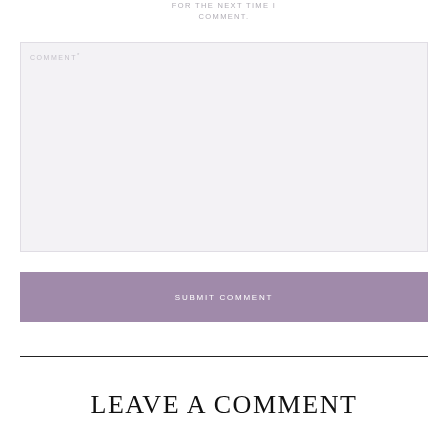FOR THE NEXT TIME I COMMENT.
COMMENT*
SUBMIT COMMENT
LEAVE A COMMENT